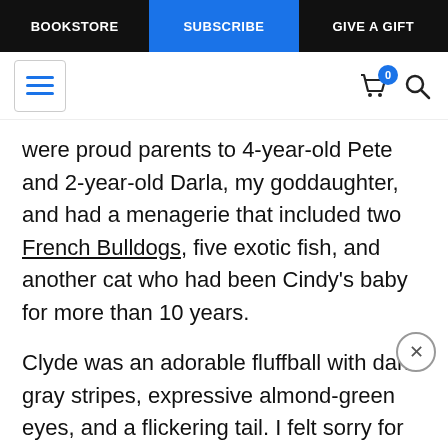BOOKSTORE | SUBSCRIBE | GIVE A GIFT
[Figure (screenshot): Navigation toolbar with hamburger menu icon (blue lines), shopping cart icon with badge showing 0, and search icon]
were proud parents to 4-year-old Pete and 2-year-old Darla, my goddaughter, and had a menagerie that included two French Bulldogs, five exotic fish, and another cat who had been Cindy's baby for more than 10 years.
Clyde was an adorable fluffball with dark-gray stripes, expressive almond-green eyes, and a flickering tail. I felt sorry for him, because every morning Darla would burst from her bedroom and hunt that kitten down! She would lovingly wrap her arms around "dat putty